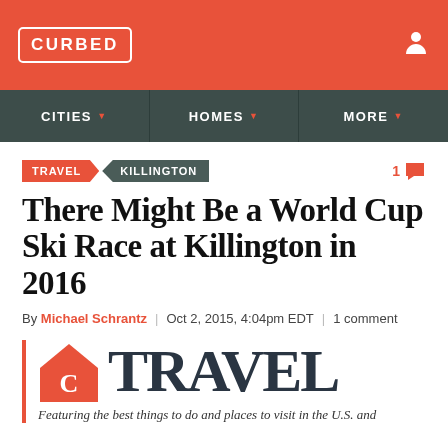CURBED
CITIES  HOMES  MORE
TRAVEL  KILLINGTON  1 comment
There Might Be a World Cup Ski Race at Killington in 2016
By Michael Schrantz | Oct 2, 2015, 4:04pm EDT | 1 comment
[Figure (logo): Curbed Travel section logo with house icon and TRAVEL wordmark]
Featuring the best things to do and places to visit in the U.S. and